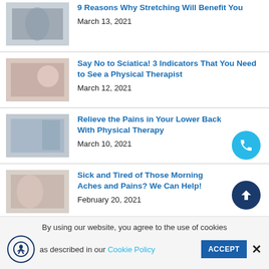9 Reasons Why Stretching Will Benefit You
March 13, 2021
Say No to Sciatica! 3 Indicators That You Need to See a Physical Therapist
March 12, 2021
Relieve the Pains in Your Lower Back With Physical Therapy
March 10, 2021
Sick and Tired of Those Morning Aches and Pains? We Can Help!
February 20, 2021
By using our website, you agree to the use of cookies as described in our Cookie Policy